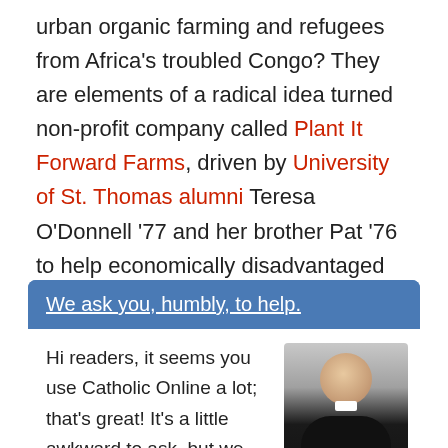urban organic farming and refugees from Africa's troubled Congo? They are elements of a radical idea turned non-profit company called Plant It Forward Farms, driven by University of St. Thomas alumni Teresa O'Donnell '77 and her brother Pat '76 to help economically disadvantaged refugees generate a living wage.
We ask you, humbly, to help.
Hi readers, it seems you use Catholic Online a lot; that's great! It's a little awkward to ask, but we need your help. If you have already donated, we
[Figure (photo): Portrait photo of a smiling man wearing a black clerical suit with white collar, against a light gray background]